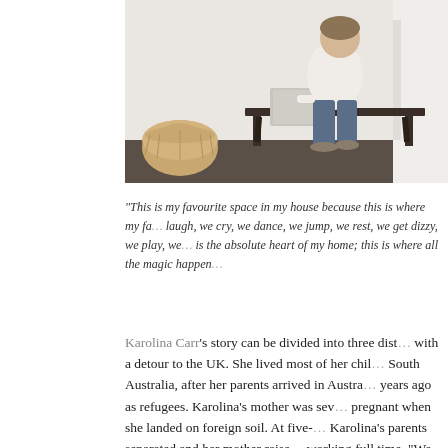[Figure (photo): Person sitting on a wooden bench in a white interior room with a fireplace, wearing jeans and a white top, with a wicker basket on the floor]
“This is my favourite space in my house because this is where my fa… laugh, we cry, we dance, we jump, we rest, we get dizzy, we play, we… is the absolute heart of my home; this is where all the magic happen…
Karolina Carr’s story can be divided into three dist… with a detour to the UK. She lived most of her chil… South Australia, after her parents arrived in Austra… years ago as refugees. Karolina’s mother was sev… pregnant when she landed on foreign soil. At five-… Karolina’s parents separated and her mother raise… working full time. “We are very close, and I love he… says. When she was 15, her mother decided to ta… to the UK for a two-year adventure. “The move wa…